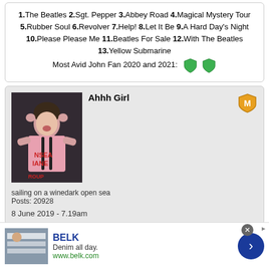1.The Beatles 2.Sgt. Pepper 3.Abbey Road 4.Magical Mystery Tour 5.Rubber Soul 6.Revolver 7.Help! 8.Let It Be 9.A Hard Day's Night 10.Please Please Me 11.Beatles For Sale 12.With The Beatles 13.Yellow Submarine Most Avid John Fan 2020 and 2021: [shields]
Ahhh Girl
[Figure (photo): Profile photo of a person in a pink striped shirt with hands on head, singing or performing]
sailing on a winedark open sea
Posts: 20928
8 June 2019 - 7.19am
8
BELK
Denim all day.
www.belk.com